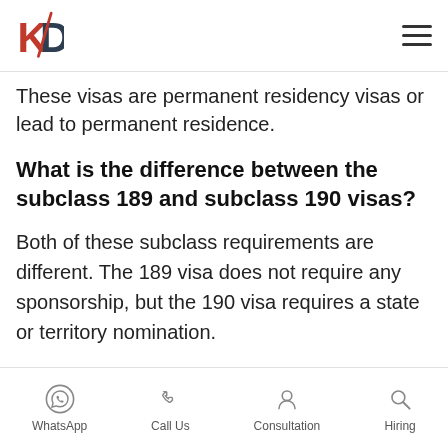KD Immigration — navigation header with logo and menu
These visas are permanent residency visas or lead to permanent residence.
What is the difference between the subclass 189 and subclass 190 visas?
Both of these subclass requirements are different. The 189 visa does not require any sponsorship, but the 190 visa requires a state or territory nomination.
What is the difference between the subclass 489 visa and subclass 491 visas?
WhatsApp  Call Us  Consultation  Hiring